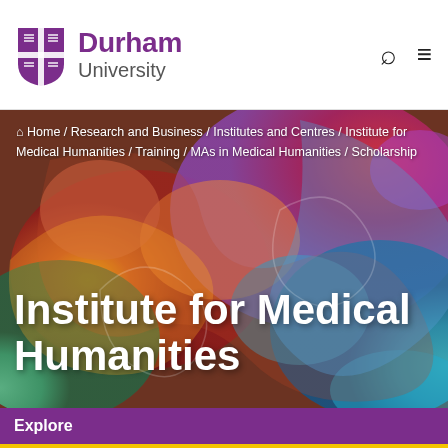Durham University
[Figure (screenshot): Durham University website screenshot showing the Institute for Medical Humanities page with a colorful abstract hero image, breadcrumb navigation, page title, and navigation bars]
Home / Research and Business / Institutes and Centres / Institute for Medical Humanities / Training / MAs in Medical Humanities / Scholarship
Institute for Medical Humanities
Explore
Institute for Medical Humanities